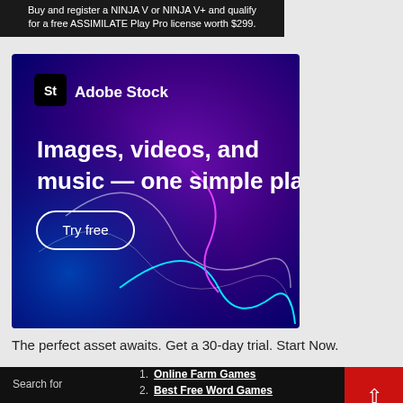[Figure (screenshot): Top dark banner with white text about buying NINJA V or NINJA V+ and qualifying for a free ASSIMILATE Play Pro license worth $299.]
[Figure (illustration): Adobe Stock advertisement with dark blue/purple gradient background featuring abstract glowing lines. Shows Adobe Stock logo (St icon), text 'Images, videos, and music — one simple plan.' and a 'Try free' button.]
The perfect asset awaits. Get a 30-day trial. Start Now.
Search for
1. Online Farm Games
2. Best Free Word Games